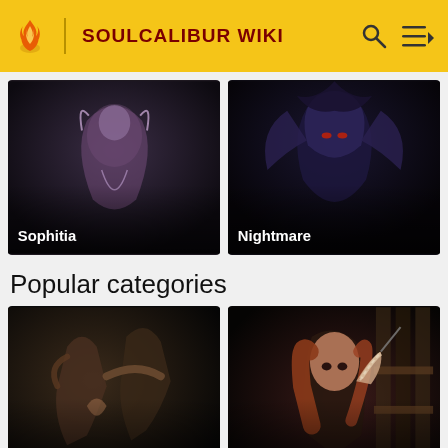SOULCALIBUR WIKI
[Figure (screenshot): Character card showing Sophitia from SoulCalibur Wiki]
[Figure (screenshot): Character card showing Nightmare from SoulCalibur Wiki]
Popular categories
[Figure (screenshot): Category card showing Characters from SoulCalibur Wiki]
[Figure (screenshot): Category card showing Females from SoulCalibur Wiki]